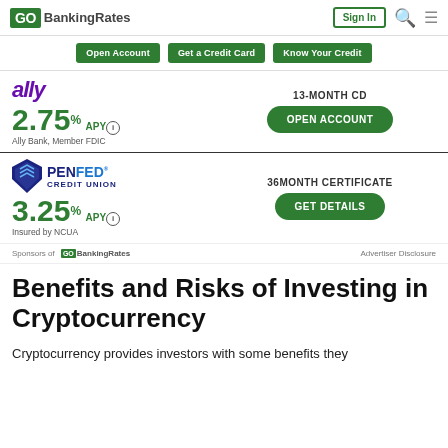GOBankingRates | Sign In
Open Account
Get a Credit Card
Know Your Credit
[Figure (advertisement): Ally Bank 13-Month CD ad: 2.75% APY, Ally Bank Member FDIC, Open Account button]
[Figure (advertisement): PenFed Credit Union 36 Month Certificate ad: 3.25% APY, Insured by NCUA, Get Details button]
Sponsors of GOBankingRates | Advertiser Disclosure
Benefits and Risks of Investing in Cryptocurrency
Cryptocurrency provides investors with some benefits they